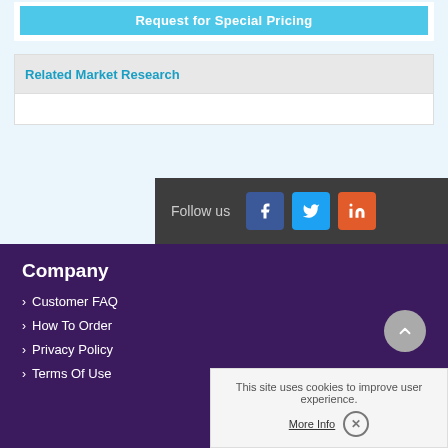Request for Special Pricing
Related Market Research
Follow us
Company
Customer FAQ
How To Order
Privacy Policy
Terms Of Use
This site uses cookies to improve user experience.
More Info